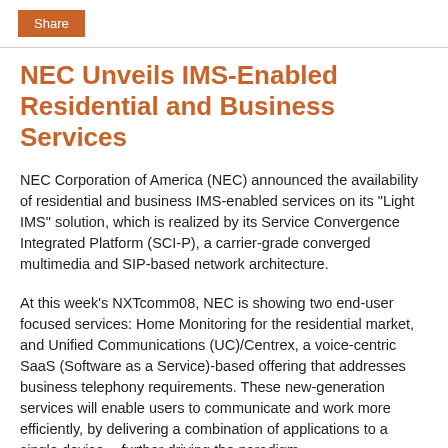Share
NEC Unveils IMS-Enabled Residential and Business Services
NEC Corporation of America (NEC) announced the availability of residential and business IMS-enabled services on its "Light IMS" solution, which is realized by its Service Convergence Integrated Platform (SCI-P), a carrier-grade converged multimedia and SIP-based network architecture.
At this week's NXTcomm08, NEC is showing two end-user focused services: Home Monitoring for the residential market, and Unified Communications (UC)/Centrex, a voice-centric SaaS (Software as a Service)-based offering that addresses business telephony requirements. These new-generation services will enable users to communicate and work more efficiently, by delivering a combination of applications to a single device -- further driving the paradigm